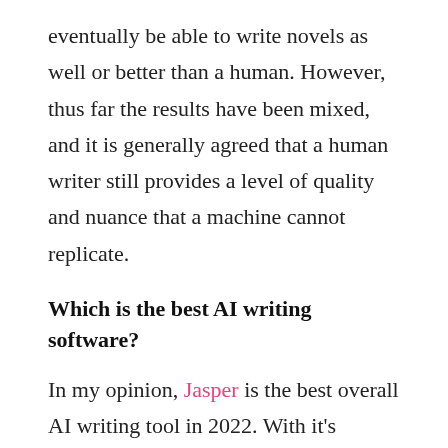eventually be able to write novels as well or better than a human. However, thus far the results have been mixed, and it is generally agreed that a human writer still provides a level of quality and nuance that a machine cannot replicate.
Which is the best AI writing software?
In my opinion, Jasper is the best overall AI writing tool in 2022. With it's powerful features, a vast library of resources, and incredibly helpful community, you can do so much with this tool, and the team over at